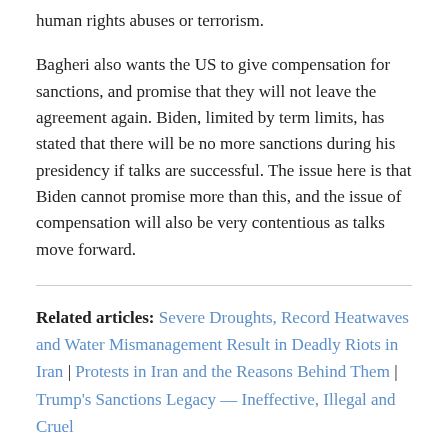human rights abuses or terrorism.
Bagheri also wants the US to give compensation for sanctions, and promise that they will not leave the agreement again. Biden, limited by term limits, has stated that there will be no more sanctions during his presidency if talks are successful. The issue here is that Biden cannot promise more than this, and the issue of compensation will also be very contentious as talks move forward.
Related articles: Severe Droughts, Record Heatwaves and Water Mismanagement Result in Deadly Riots in Iran | Protests in Iran and the Reasons Behind Them | Trump's Sanctions Legacy — Ineffective, Illegal and Cruel
The 2015 nuclear deal, also known as the Republican...